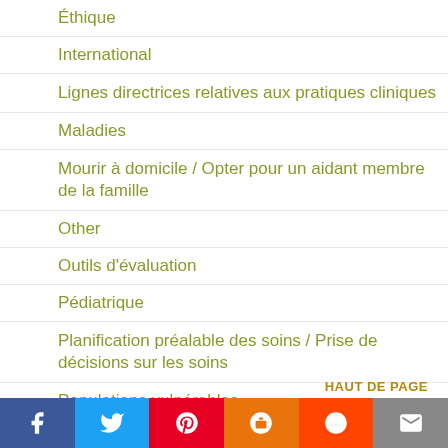Éthique
International
Lignes directrices relatives aux pratiques cliniques
Maladies
Mourir à domicile / Opter pour un aidant membre de la famille
Other
Outils d'évaluation
Pédiatrique
Planification préalable des soins / Prise de décisions sur les soins
Populations vulnérables
Pratique interdisciplinaire
HAUT DE PAGE
[Figure (other): Social media share buttons bar: Facebook, Twitter, Pinterest, Blogger, Reddit, Email]